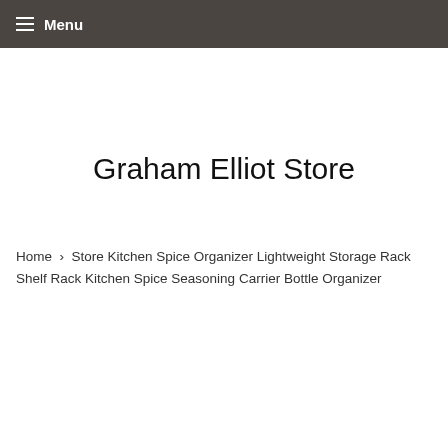Menu
Graham Elliot Store
Home › Store Kitchen Spice Organizer Lightweight Storage Rack Shelf Rack Kitchen Spice Seasoning Carrier Bottle Organizer